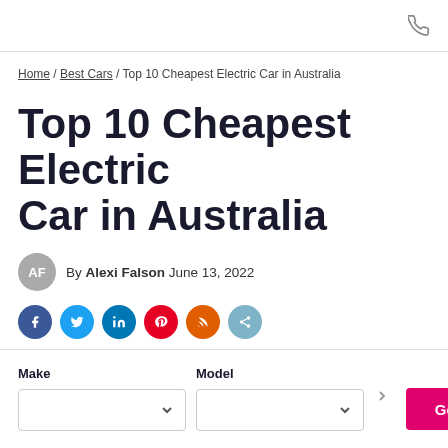phone icon
Home / Best Cars / Top 10 Cheapest Electric Car in Australia
Top 10 Cheapest Electric Car in Australia
By Alexi Falson June 13, 2022
[Figure (infographic): Social share buttons: Facebook (dark blue), Twitter (blue), LinkedIn (dark teal), Pinterest (red), RSS (orange), share (light blue)]
Make  Model  Get Quote